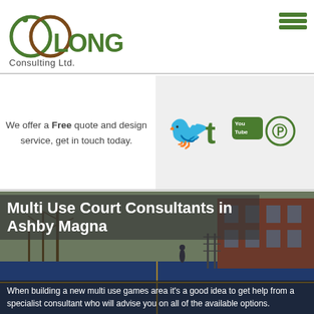[Figure (logo): Oolong Consulting Ltd logo — two overlapping circles in dark green and brown with a location pin, company name in green and dark text]
[Figure (illustration): Hamburger menu icon — three horizontal green lines in top right corner]
We offer a Free quote and design service, get in touch today.
[Figure (infographic): Social media icons on grey background: Twitter (bird), Tumblr (t), YouTube, Pinterest — all in green]
[Figure (photo): Photo of a multi-use games area / sports court with trees and brick building in background]
Multi Use Court Consultants in Ashby Magna
When building a new multi use games area it's a good idea to get help from a specialist consultant who will advise you on all of the available options.